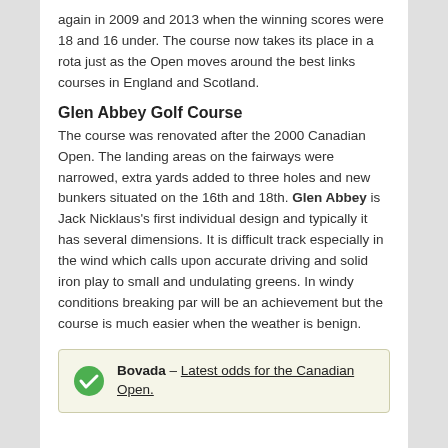again in 2009 and 2013 when the winning scores were 18 and 16 under. The course now takes its place in a rota just as the Open moves around the best links courses in England and Scotland.
Glen Abbey Golf Course
The course was renovated after the 2000 Canadian Open. The landing areas on the fairways were narrowed, extra yards added to three holes and new bunkers situated on the 16th and 18th. Glen Abbey is Jack Nicklaus's first individual design and typically it has several dimensions. It is difficult track especially in the wind which calls upon accurate driving and solid iron play to small and undulating greens. In windy conditions breaking par will be an achievement but the course is much easier when the weather is benign.
Bovada – Latest odds for the Canadian Open.